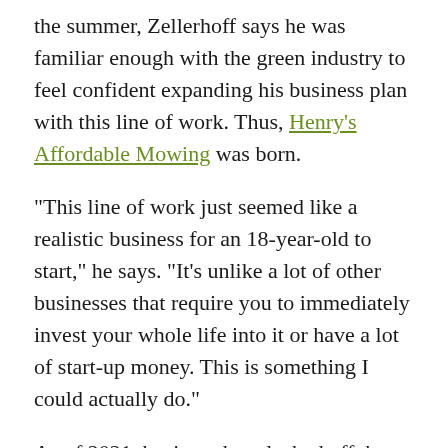the summer, Zellerhoff says he was familiar enough with the green industry to feel confident expanding his business plan with this line of work. Thus, Henry's Affordable Mowing was born.
“This line of work just seemed like a realistic business for an 18-year-old to start,” he says. “It’s unlike a lot of other businesses that require you to immediately invest your whole life into it or have a lot of start-up money. This is something I could actually do.”
As of 2021, business has slacked off, but with the winter months soon coming to a close, Zellerhoff says he’s already started reaching back out to clients to get them on the books for spring.
In 2020, however, Zellerhoff says business was